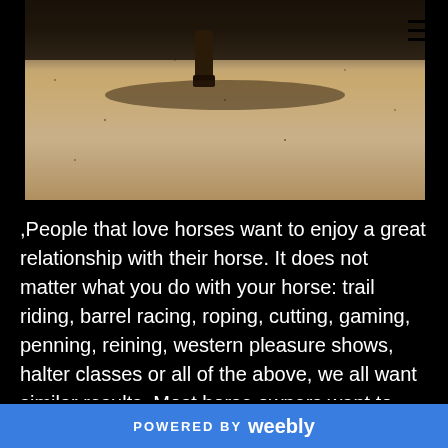[Figure (photo): Photograph of a horse's hooves over sandy ground with a dark shadow area at the top]
,People that love horses want to enjoy a great relationship with their horse. It does not matter what you do with your horse: trail riding, barrel racing, roping, cutting, gaming, penning, reining, western pleasure shows, halter classes or all of the above, we all want similar results. Most horse owners want to improve their
POWERED BY weebly